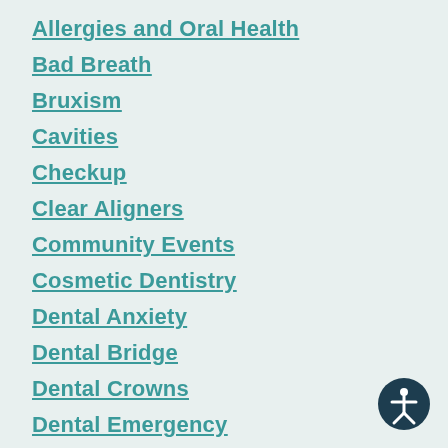Allergies and Oral Health
Bad Breath
Bruxism
Cavities
Checkup
Clear Aligners
Community Events
Cosmetic Dentistry
Dental Anxiety
Dental Bridge
Dental Crowns
Dental Emergency
Dental Fillings
Dental Health
Dental Hygiene
Dental Implants
[Figure (illustration): Accessibility icon — circular dark teal button with white human figure in center with arms and legs spread]